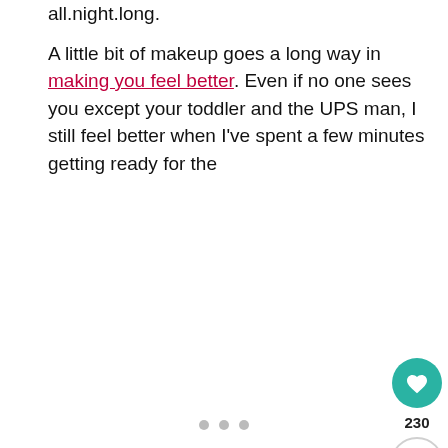all.night.long.
A little bit of makeup goes a long way in making you feel better. Even if no one sees you except your toddler and the UPS man, I still feel better when I've spent a few minutes getting ready for the
[Figure (infographic): Social sharing sidebar on the left with Pinterest (225), Facebook (3), Heart/like (1), and Twitter buttons. On the right, a heart button with count 230 and a share button.]